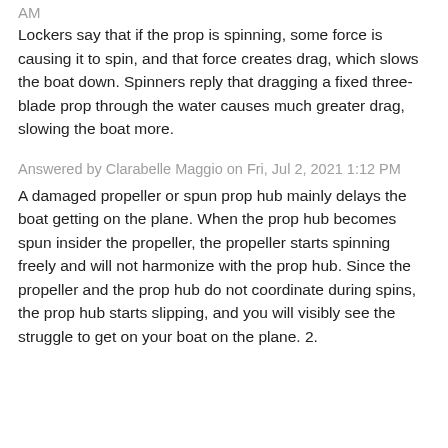AM
Lockers say that if the prop is spinning, some force is causing it to spin, and that force creates drag, which slows the boat down. Spinners reply that dragging a fixed three-blade prop through the water causes much greater drag, slowing the boat more.
Answered by Clarabelle Maggio on Fri, Jul 2, 2021 1:12 PM
A damaged propeller or spun prop hub mainly delays the boat getting on the plane. When the prop hub becomes spun insider the propeller, the propeller starts spinning freely and will not harmonize with the prop hub. Since the propeller and the prop hub do not coordinate during spins, the prop hub starts slipping, and you will visibly see the struggle to get on your boat on the plane. 2.